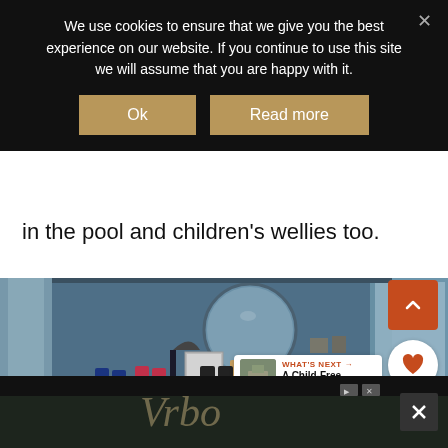We use cookies to ensure that we give you the best experience on our website. If you continue to use this site we will assume that you are happy with it.
in the pool and children's wellies too.
[Figure (photo): Interior room with blue walls, round mirror, wooden shelf with framed art, and multiple pairs of wellington/rain boots lined up on the floor. Umbrella stand visible.]
[Figure (screenshot): Vrbo advertisement banner at the bottom of the page with logo text and dismiss controls.]